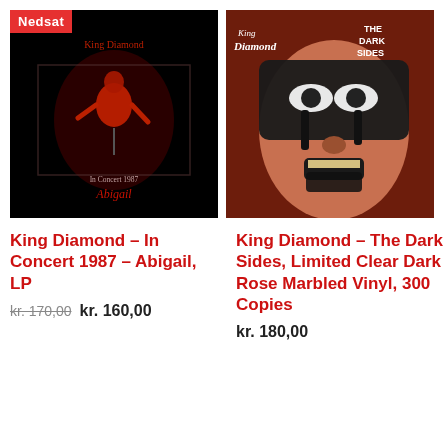[Figure (photo): Album cover: King Diamond – In Concert 1987 – Abigail, LP. Black background with red-tinted concert photo of King Diamond on stage. Shows stylized logo text at top and text 'In Concert 1987 Abigail' at bottom. Red 'Nedsat' sale badge in top-left corner.]
[Figure (photo): Album cover: King Diamond – The Dark Sides. Close-up photo of King Diamond in black and white face paint with dramatic expression against a dark red background. 'King Diamond' logo top-left and 'THE DARK SIDES' text top-right.]
King Diamond – In Concert 1987 – Abigail, LP
kr. 170,00 kr. 160,00
King Diamond – The Dark Sides, Limited Clear Dark Rose Marbled Vinyl, 300 Copies
kr. 180,00